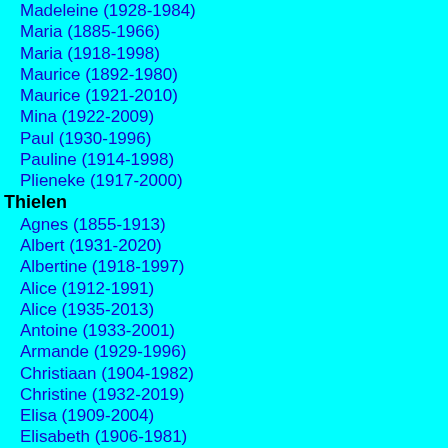Madeleine (1928-1984)
Maria (1885-1966)
Maria (1918-1998)
Maurice (1892-1980)
Maurice (1921-2010)
Mina (1922-2009)
Paul (1930-1996)
Pauline (1914-1998)
Plieneke (1917-2000)
Thielen
Agnes (1855-1913)
Albert (1931-2020)
Albertine (1918-1997)
Alice (1912-1991)
Alice (1935-2013)
Antoine (1933-2001)
Armande (1929-1996)
Christiaan (1904-1982)
Christine (1932-2019)
Elisa (1909-2004)
Elisabeth (1906-1981)
Fientje (1938-2005)
Francine (1952-2016)
Henri (1916-1988)
Henri (1926-2001)
Henri (1942-2008)
Jaak (1958-1993)
Jef (1927-2006)